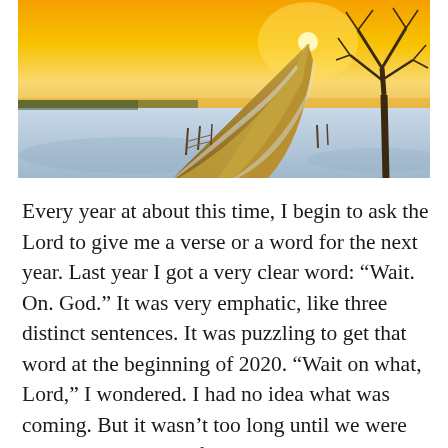[Figure (photo): A snowy country road curving into the distance under a golden sunset sky, with a bare tree on the right side and snow-covered fields on either side of the road.]
Every year at about this time, I begin to ask the Lord to give me a verse or a word for the next year. Last year I got a very clear word: “Wait. On. God.” It was very emphatic, like three distinct sentences. It was puzzling to get that word at the beginning of 2020. “Wait on what, Lord,” I wondered. I had no idea what was coming. But it wasn’t too long until we were all waiting. Waiting for the lockdown to be over, waiting for the virus to go away, waiting to go back to work, for the children to go back to